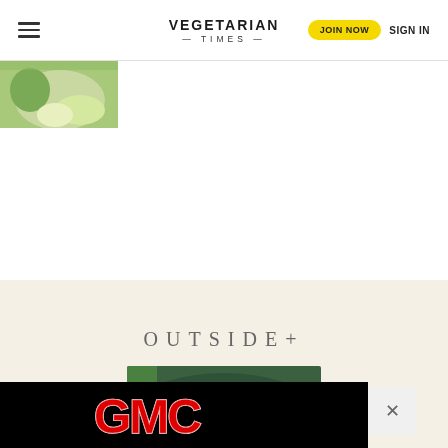VEGETARIAN TIMES | JOIN NOW | SIGN IN
[Figure (photo): Partial view of a food/salad photo in the top-left corner below the nav bar]
OUTSIDE+
[Figure (photo): Food bowl with vegetables and fruits image in the cream-colored section]
[Figure (logo): GMC advertisement banner with red GMC logo on black background with close (X) button]